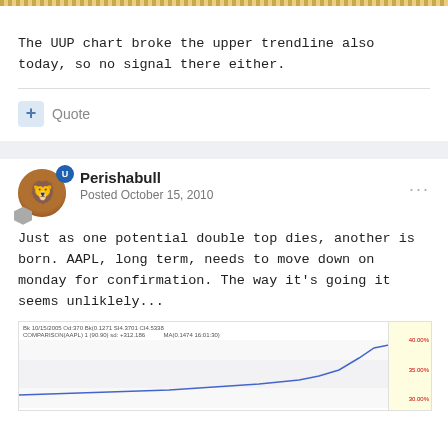The UUP chart broke the upper trendline also today, so no signal there either.
Quote
Perishabull
Posted October 15, 2010
Just as one potential double top dies, another is born. AAPL, long term, needs to move down on monday for confirmation. The way it's going it seems unliklely...
[Figure (screenshot): Stock chart screenshot showing AAPL price data, with header text 'Bk 10/15/2005 Od:370 Bk(0.1271 SI4.3701 CI4.5338 COMPARISON(AAPL) 1 (90.90) sd: +312.186' and 'MA(0.1474 16:01:30)'. Chart shows a line rising sharply at the right side. Right panel shows yellow highlighted area with percentage labels approximately 40.00%, 35.00%, 30.00%.]